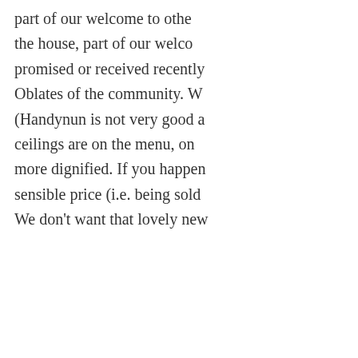part of our welcome to others in the house, part of our welcome promised or received recently, from Oblates of the community. We (Handynun is not very good at ceilings are on the menu, one more dignified. If you happen sensible price (i.e. being sold We don't want that lovely new
Birdsong
21/September/2009
Suddenly the garden is full of breathtaking in its intensity, a their rapture heavenwards in fell apart during the Kyrie at M monks come over from Doua something to do with the hum great claims for originality but